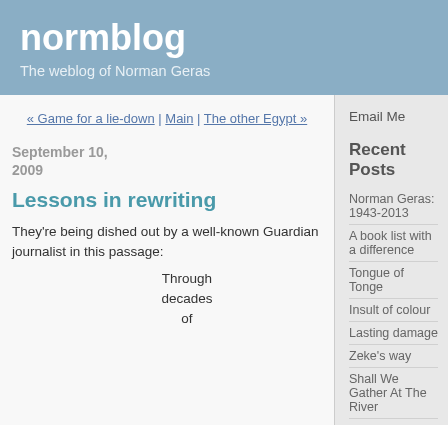normblog
The weblog of Norman Geras
« Game for a lie-down | Main | The other Egypt »
September 10, 2009
Lessons in rewriting
They're being dished out by a well-known Guardian journalist in this passage:
Through decades of
Email Me
Recent Posts
Norman Geras: 1943-2013
A book list with a difference
Tongue of Tonge
Insult of colour
Lasting damage
Zeke's way
Shall We Gather At The River
A right denied to millions
Ordinary women
We found out what people had been doing for the last 50 years